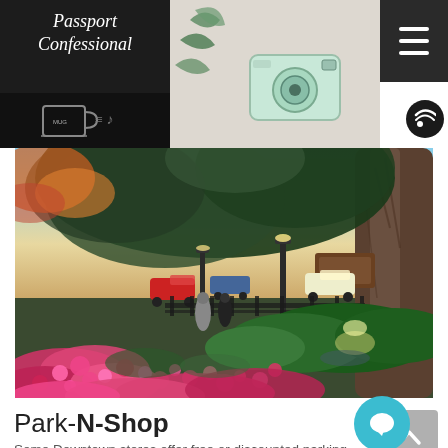Passport Confessional
[Figure (photo): Outdoor park scene with large oak tree, pink azalea flowers in foreground, green hedges, street lamps, parked cars, and people in background at golden hour]
Park-N-Shop
Some Downtown stores offer free or discounted parking with purchases at nearby lots. Don't miss out on saving some cash where you can! Especially